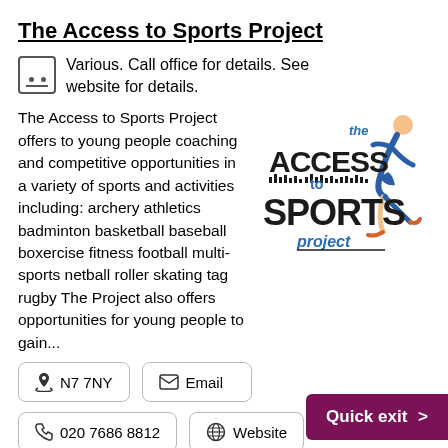The Access to Sports Project
Various. Call office for details. See website for details.
The Access to Sports Project offers to young people coaching and competitive opportunities in a variety of sports and activities including: archery athletics badminton basketball baseball boxercise fitness football multi-sports netball roller skating tag rugby The Project also offers opportunities for young people to gain...
[Figure (logo): The Access to Sports Project logo with stylized text and running figure in blue]
N7 7NY
Email
020 7686 8812
Website
Quick exit >